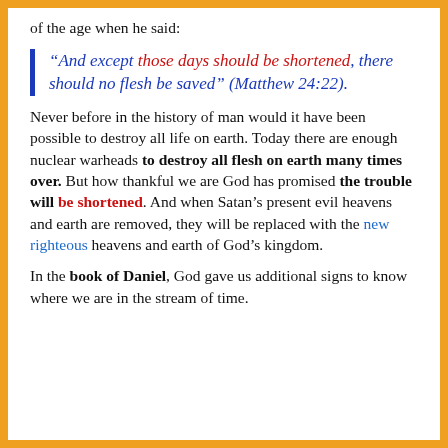…we can see the fulfillment of this sign of the end of the age when he said:
“And except those days should be shortened, there should no flesh be saved” (Matthew 24:22).
Never before in the history of man would it have been possible to destroy all life on earth. Today there are enough nuclear warheads to destroy all flesh on earth many times over. But how thankful we are God has promised the trouble will be shortened. And when Satan’s present evil heavens and earth are removed, they will be replaced with the new righteous heavens and earth of God’s kingdom.
In the book of Daniel, God gave us additional signs to know where we are in the stream of time.